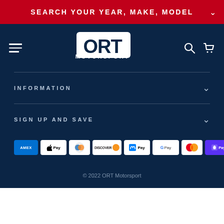SEARCH YOUR YEAR, MAKE, MODEL
[Figure (logo): ORT Motorsport logo - white text on dark background]
INFORMATION
SIGN UP AND SAVE
[Figure (other): Payment method icons: Amex, Apple Pay, Diners Club, Discover, Meta Pay, Google Pay, Mastercard, Shop Pay, Visa]
© 2022 ORT Motorsport